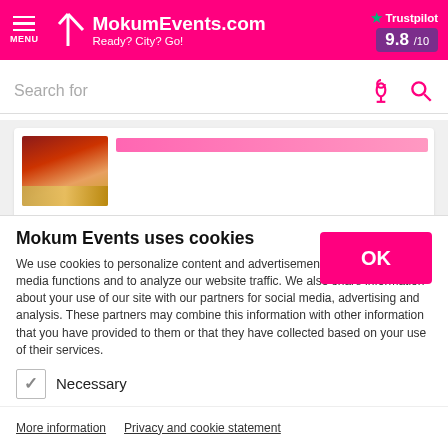MokumEvents.com — Ready? City? Go! — Trustpilot 9.8/10
Search for
[Figure (screenshot): Partial background card with reddish/golden image thumbnail]
Mokum Events uses cookies
We use cookies to personalize content and advertisements, to provide social media functions and to analyze our website traffic. We also share information about your use of our site with our partners for social media, advertising and analysis. These partners may combine this information with other information that you have provided to them or that they have collected based on your use of their services.
Necessary (checked, grey)
Statistics (checked, green)
Marketing (checked, green)
More information   Privacy and cookie statement